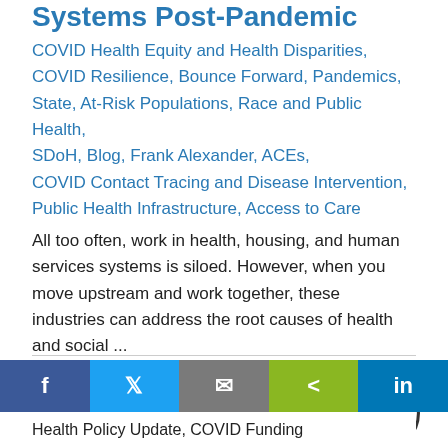Systems Post-Pandemic
COVID Health Equity and Health Disparities, COVID Resilience, Bounce Forward, Pandemics, State, At-Risk Populations, Race and Public Health, SDoH, Blog, Frank Alexander, ACEs, COVID Contact Tracing and Disease Intervention, Public Health Infrastructure, Access to Care
All too often, work in health, housing, and human services systems is siloed. However, when you move upstream and work together, these industries can address the root causes of health and social ...
Public Health Infrastructure
Health Policy Update, COVID Funding